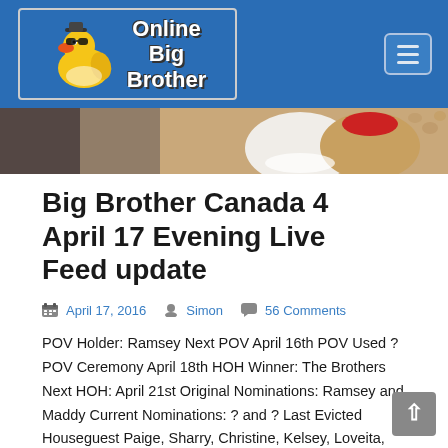[Figure (logo): Online Big Brother website logo with rubber duck wearing sunglasses and hat, blue background with white text 'Online Big Brother']
[Figure (photo): Hero banner image showing plush toys or stuffed animals on a beige/tan background]
Big Brother Canada 4 April 17 Evening Live Feed update
April 17, 2016  Simon  56 Comments
POV Holder: Ramsey Next POV April 16th POV Used ? POV Ceremony April 18th HOH Winner: The Brothers Next HOH: April 21st Original Nominations: Ramsey and Maddy Current Nominations: ? and ? Last Evicted Houseguest Paige, Sharry, Christine, Kelsey, Loveita,